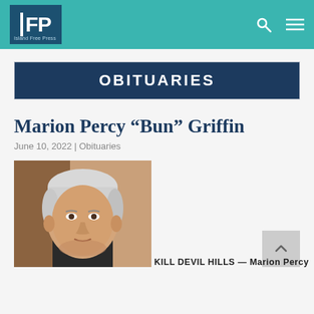IFP | Navigation bar with search and menu icons
OBITUARIES
Marion Percy “Bun” Griffin
June 10, 2022 | Obituaries
[Figure (photo): Portrait photo of Marion Percy “Bun” Griffin, an older man with white/silver hair, wearing dark clothing, photographed indoors.]
KILL DEVIL HILLS — Marion Percy